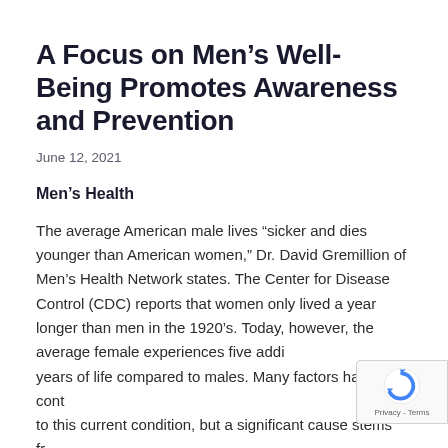A Focus on Men’s Well-Being Promotes Awareness and Prevention
June 12, 2021
Men’s Health
The average American male lives “sicker and dies younger than American women,” Dr. David Gremillion of Men’s Health Network states. The Center for Disease Control (CDC) reports that women only lived a year longer than men in the 1920’s. Today, however, the average female experiences five additional years of life compared to males. Many factors have contributed to this current condition, but a significant cause stems from a lack of awareness.